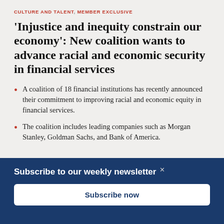CULTURE AND TALENT, MEMBER EXCLUSIVE
'Injustice and inequity constrain our economy': New coalition wants to advance racial and economic security in financial services
A coalition of 18 financial institutions has recently announced their commitment to improving racial and economic equity in financial services.
The coalition includes leading companies such as Morgan Stanley, Goldman Sachs, and Bank of America.
Subscribe to our weekly newsletter
Subscribe now